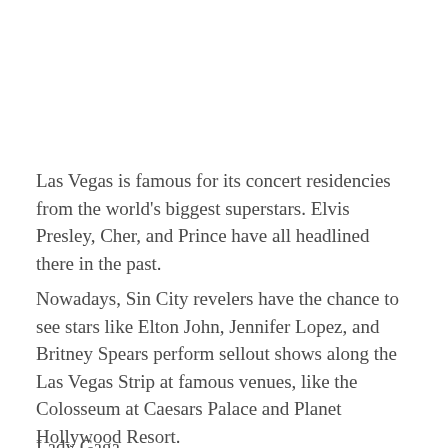Las Vegas is famous for its concert residencies from the world's biggest superstars. Elvis Presley, Cher, and Prince have all headlined there in the past.
Nowadays, Sin City revelers have the chance to see stars like Elton John, Jennifer Lopez, and Britney Spears perform sellout shows along the Las Vegas Strip at famous venues, like the Colosseum at Caesars Palace and Planet Hollywood Resort.
Lady Gaga has also headlined there in the...